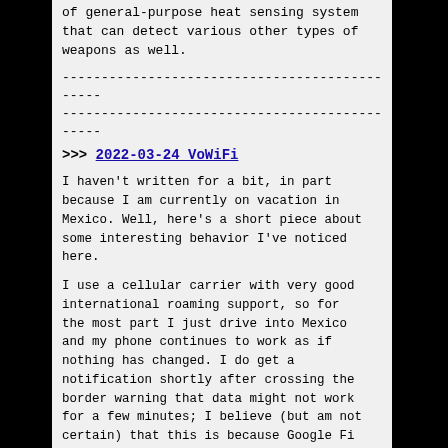of general-purpose heat sensing system that can detect various other types of weapons as well.
----------------------------------------------
----------------------------------------------
>>> 2022-03-24 VoWiFi
I haven't written for a bit, in part because I am currently on vacation in Mexico. Well, here's a short piece about some interesting behavior I've noticed here.
I use a cellular carrier with very good international roaming support, so for the most part I just drive into Mexico and my phone continues to work as if nothing has changed. I do get a notification shortly after crossing the border warning that data might not work for a few minutes; I believe (but am not certain) that this is because Google Fi uses eUICC.